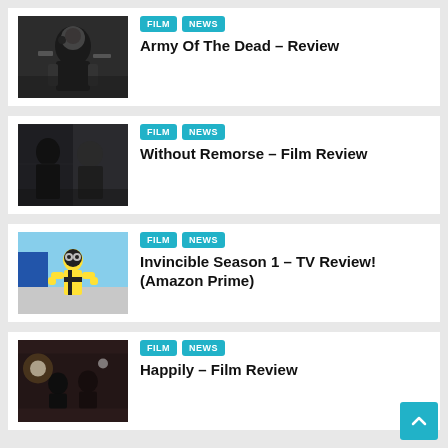[Figure (photo): Movie still from Army Of The Dead showing armored figures]
FILM  NEWS
Army Of The Dead – Review
[Figure (photo): Movie still from Without Remorse showing two characters]
FILM  NEWS
Without Remorse – Film Review
[Figure (photo): Animated still from Invincible showing superhero character in yellow and black costume]
FILM  NEWS
Invincible Season 1 – TV Review! (Amazon Prime)
[Figure (photo): Movie still from Happily showing characters in a scene]
FILM  NEWS
Happily – Film Review